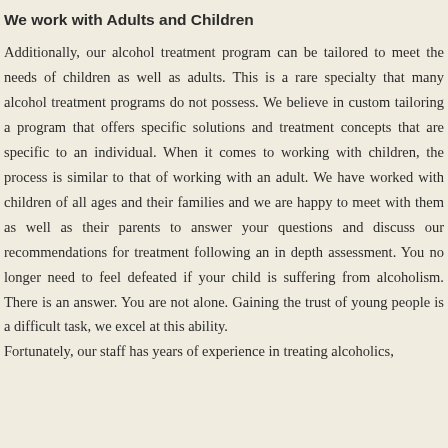We work with Adults and Children
Additionally, our alcohol treatment program can be tailored to meet the needs of children as well as adults. This is a rare specialty that many alcohol treatment programs do not possess. We believe in custom tailoring a program that offers specific solutions and treatment concepts that are specific to an individual. When it comes to working with children, the process is similar to that of working with an adult. We have worked with children of all ages and their families and we are happy to meet with them as well as their parents to answer your questions and discuss our recommendations for treatment following an in depth assessment. You no longer need to feel defeated if your child is suffering from alcoholism. There is an answer. You are not alone. Gaining the trust of young people is a difficult task, we excel at this ability.
Fortunately, our staff has years of experience in treating alcoholics,